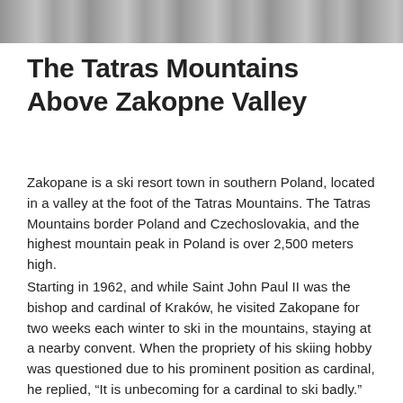[Figure (photo): Grayscale photo strip of Tatras Mountains landscape at top of page]
The Tatras Mountains Above Zakopne Valley
Zakopane is a ski resort town in southern Poland, located in a valley at the foot of the Tatras Mountains. The Tatras Mountains border Poland and Czechoslovakia, and the highest mountain peak in Poland is over 2,500 meters high.
Starting in 1962, and while Saint John Paul II was the bishop and cardinal of Kraków, he visited Zakopane for two weeks each winter to ski in the mountains, staying at a nearby convent. When the propriety of his skiing hobby was questioned due to his prominent position as cardinal, he replied, “It is unbecoming for a cardinal to ski badly.”